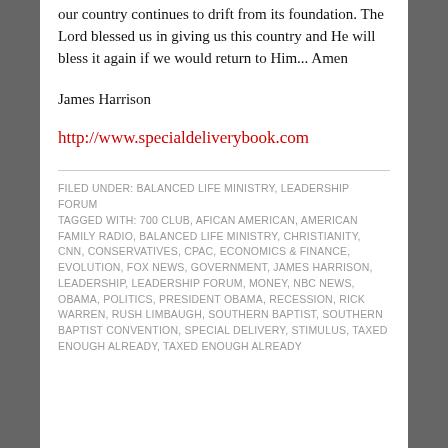our country continues to drift from its foundation. The Lord blessed us in giving us this country and He will bless it again if we would return to Him... Amen
James Harrison
http://www.specialdeliverybook.com
FILED UNDER: BALANCED LIFE MINISTRY, LEADERSHIP FORUM
TAGGED WITH: 700 CLUB, AFICAN AMERICAN, AMERICAN FAMILY RADIO, BALANCED LIFE MINISTRY, CHRISTIANITY, CNN, CONSERVATIVES, CPAC, ECONOMICS & FINANCE, EVOLUTION, FOX NEWS, GOVERNMENT, JAMES HARRISON, LEADERSHIP, LEADERSHIP FORUM, MONEY, NBC NEWS, OBAMA, POLITICS, PRESIDENT OBAMA, RECESSION, RICK WARREN, RUSH LIMBAUGH, SOUTHERN BAPTIST, SOUTHERN BAPTIST CONVENTION, SPECIAL DELIVERY, STIMULUS, TAXED ENOUGH ALREADY, TAXED ENOUGH ALREADY